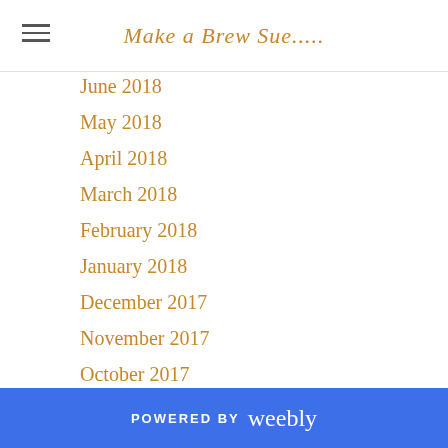Make a Brew Sue.....
June 2018
May 2018
April 2018
March 2018
February 2018
January 2018
December 2017
November 2017
October 2017
September 2017
August 2017
July 2017
June 2017
May 2017
April 2017
March 2017
POWERED BY weebly